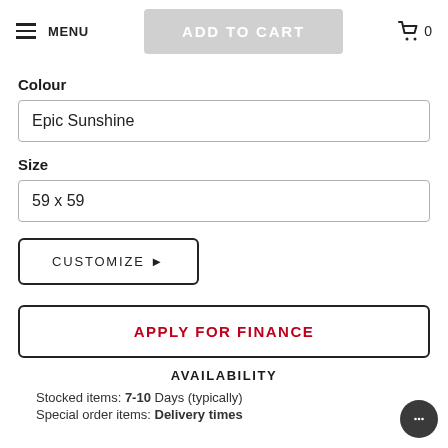MENU | ADD TO CART | 0
Colour
Epic Sunshine
Size
59 x 59
CUSTOMIZE ▶
APPLY FOR FINANCE
AVAILABILITY
Stocked items: 7-10 Days (typically)
Special order items: Delivery times